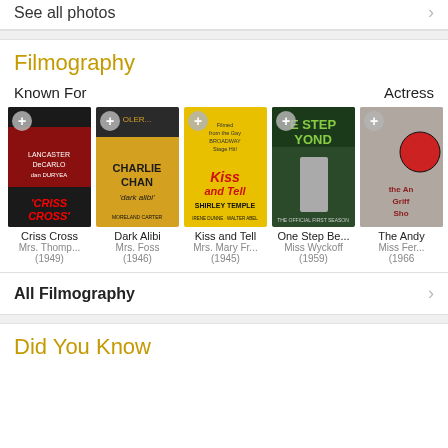See all photos
Filmography
Known For
Actress
[Figure (photo): Movie poster for Criss Cross (1949)]
Criss Cross
Mrs. Thompson...
(1949)
[Figure (photo): Movie poster for Dark Alibi (1946)]
Dark Alibi
Mrs. Foss
(1946)
[Figure (photo): Movie poster for Kiss and Tell (1945)]
Kiss and Tell
Mrs. Mary Fr...
(1945)
[Figure (photo): Movie poster for One Step Beyond (1959)]
One Step Be...
Miss Wyckoff
(1959)
[Figure (photo): Movie poster for The Andy Griffith Show (1966)]
The Andy
Miss Fe...
(1966
All Filmography
Did You Know